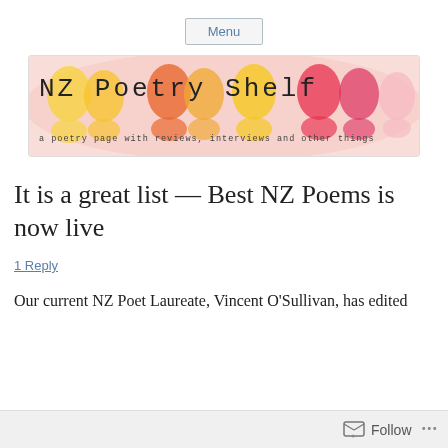Menu
[Figure (logo): NZ Poetry Shelf banner logo with watercolor silhouette heads in yellow, orange, red and pink. Text reads 'NZ Poetry Shelf' with subtitle 'a poetry page with reviews, interviews and other things']
It is a great list — Best NZ Poems is now live
1 Reply
Our current NZ Poet Laureate, Vincent O’Sullivan, has edited
Follow